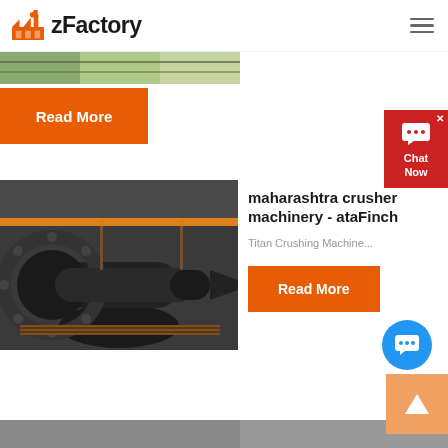zFactory
[Figure (screenshot): Top image strip showing industrial machinery/factory background, partially visible]
Read More
[Figure (photo): Industrial ball mill machinery with large gear ring, photographed in a factory setting]
maharashtra crusher machinery - ataFinch
Titan Crushing Machinery...
Read More
[Figure (screenshot): Chat Now widget on right side]
[Figure (screenshot): Blue chat bubble icon]
[Figure (screenshot): Orange scroll-up arrow button]